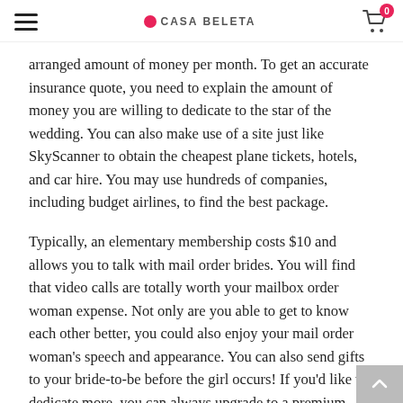CASA BELETA
arranged amount of money per month. To get an accurate insurance quote, you need to explain the amount of money you are willing to dedicate to the star of the wedding. You can also make use of a site just like SkyScanner to obtain the cheapest plane tickets, hotels, and car hire. You may use hundreds of companies, including budget airlines, to find the best package.
Typically, an elementary membership costs $10 and allows you to talk with mail order brides. You will find that video calls are totally worth your mailbox order woman expense. Not only are you able to get to know each other better, you could also enjoy your mail order woman's speech and appearance. You can also send gifts to your bride-to-be before the girl occurs! If you'd like to dedicate more, you can always upgrade to a premium membership rights to receive additional information.